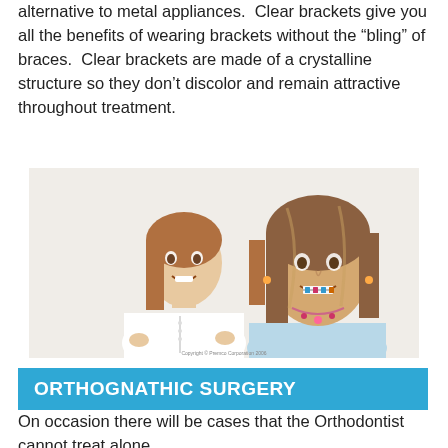alternative to metal appliances.  Clear brackets give you all the benefits of wearing brackets without the “bling” of braces.  Clear brackets are made of a crystalline structure so they don’t discolor and remain attractive throughout treatment.
[Figure (photo): Two smiling young women side by side, one wearing a white top with clear/no visible braces, the other wearing braces with colorful brackets and a necklace.]
Copyright © Premco Corporation 2006
ORTHOGNATHIC SURGERY
On occasion there will be cases that the Orthodontist cannot treat alone.